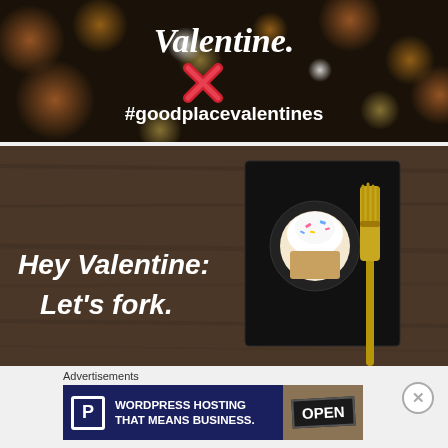[Figure (photo): Dark bokeh background with Valentine's card text: italic 'Valentine.' and hashtag '#goodplacevalentines' in white, with a red X heart shape visible]
[Figure (photo): Restaurant/food promotional image on dark wood background showing a cupcake on a black plate with a gold fork. White bold italic text reads 'Hey Valentine: Let's fork.']
Advertisements
[Figure (screenshot): Advertisement banner for WordPress Hosting: dark navy background with P letter logo icon, text 'WORDPRESS HOSTING THAT MEANS BUSINESS.' in white bold, right side shows 'OPEN' sign on dark background]